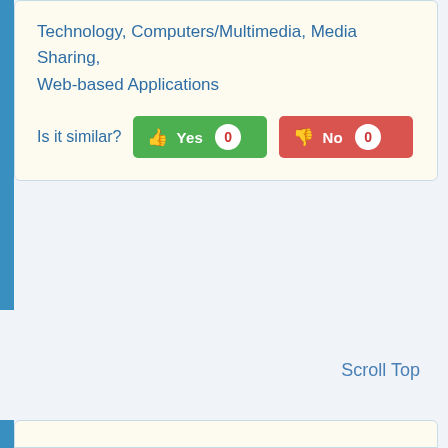Technology, Computers/Multimedia, Media Sharing, Web-based Applications
Is it similar?
Scroll Top